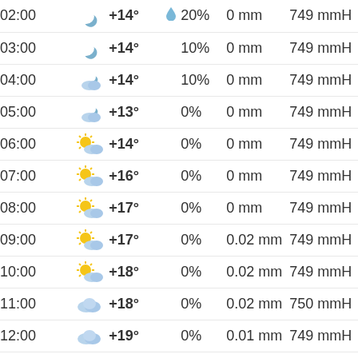| Time | Icon | Temp |  | Precip% | Rain | Pressure |
| --- | --- | --- | --- | --- | --- | --- |
| 02:00 | moon | +14° | 💧 20% | 20% | 0 mm | 749 mmH |
| 03:00 | moon | +14° |  | 10% | 0 mm | 749 mmH |
| 04:00 | moon+cloud | +14° |  | 10% | 0 mm | 749 mmH |
| 05:00 | moon+cloud | +13° |  | 0% | 0 mm | 749 mmH |
| 06:00 | sun+cloud | +14° |  | 0% | 0 mm | 749 mmH |
| 07:00 | sun+cloud | +16° |  | 0% | 0 mm | 749 mmH |
| 08:00 | sun+cloud | +17° |  | 0% | 0 mm | 749 mmH |
| 09:00 | sun+cloud | +17° |  | 0% | 0.02 mm | 749 mmH |
| 10:00 | sun+cloud | +18° |  | 0% | 0.02 mm | 749 mmH |
| 11:00 | cloud | +18° |  | 0% | 0.02 mm | 750 mmH |
| 12:00 | cloud | +19° |  | 0% | 0.01 mm | 749 mmH |